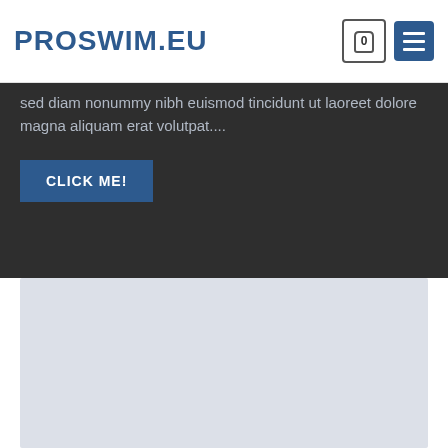PROSWIM.EU
sed diam nonummy nibh euismod tincidunt ut laoreet dolore magna aliquam erat volutpat....
CLICK ME!
[Figure (photo): Light grey placeholder image rectangle]